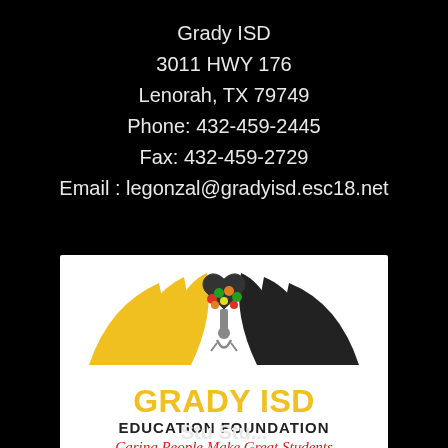Grady ISD
3011 HWY 176
Lenorah, TX 79749
Phone: 432-459-2445
Fax: 432-459-2729
Email : legonzal@gradyisd.esc18.net
[Figure (logo): Grady ISD Education Foundation logo with yellow and black stylized book pages, a colorful tree with heart, a figure, text 'GRADY ISD' in yellow bold, 'EDUCATION FOUNDATION' in black bold, and tagline 'Caring People Make Great Students' in red italic script.]
Stu Stu...